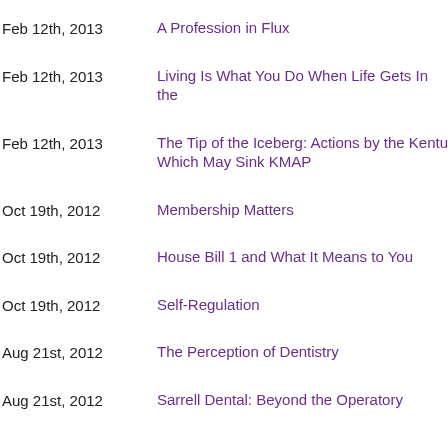Feb 12th, 2013 | A Profession in Flux
Feb 12th, 2013 | Living Is What You Do When Life Gets In the
Feb 12th, 2013 | The Tip of the Iceberg: Actions by the Kentu Which May Sink KMAP
Oct 19th, 2012 | Membership Matters
Oct 19th, 2012 | House Bill 1 and What It Means to You
Oct 19th, 2012 | Self-Regulation
Aug 21st, 2012 | The Perception of Dentistry
Aug 21st, 2012 | Sarrell Dental: Beyond the Operatory